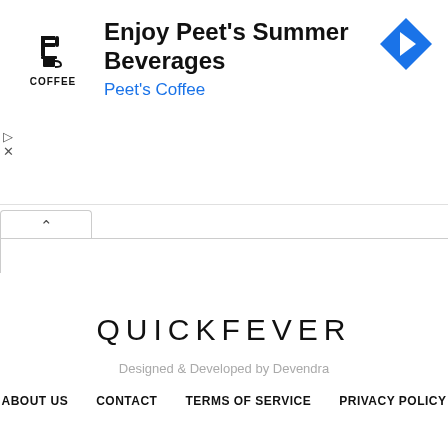[Figure (other): Peet's Coffee advertisement banner with logo, headline 'Enjoy Peet's Summer Beverages', subtext 'Peet's Coffee', and a blue diamond navigation arrow icon on the right.]
[Figure (other): Collapsed content panel with a caret/chevron up tab and an empty white content box with border.]
QUICKFEVER
Designed & Developed by Devendra
ABOUT US
CONTACT
TERMS OF SERVICE
PRIVACY POLICY